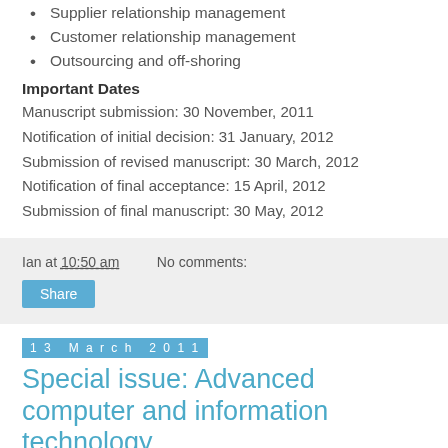Supplier relationship management
Customer relationship management
Outsourcing and off-shoring
Important Dates
Manuscript submission: 30 November, 2011
Notification of initial decision: 31 January, 2012
Submission of revised manuscript: 30 March, 2012
Notification of final acceptance: 15 April, 2012
Submission of final manuscript: 30 May, 2012
Ian at 10:50 am    No comments:
Share
13 March 2011
Special issue: Advanced computer and information technology
International Journal of Intelligent Systems Technologies and Applications 10(2) 2011